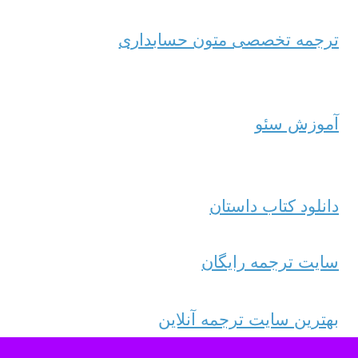ترجمه تخصصی متون حسابداری
آموزش سئو
دانلود کتاب داستان
سایت ترجمه رایگان
بهترین سایت ترجمه آنلاین
ترجمه تخصصی فوری
ترجمه زبان تخصصی مکانیک
خرید کتاب زبان اصلی